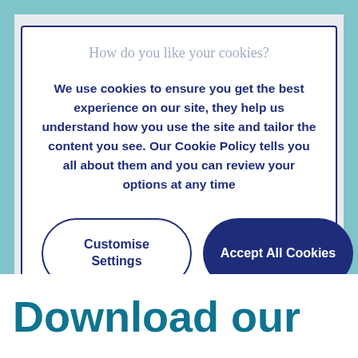How do you like your cookies?
We use cookies to ensure you get the best experience on our site, they help us understand how you use the site and tailor the content you see. Our Cookie Policy tells you all about them and you can review your options at any time
Customise Settings
Accept All Cookies
Download our